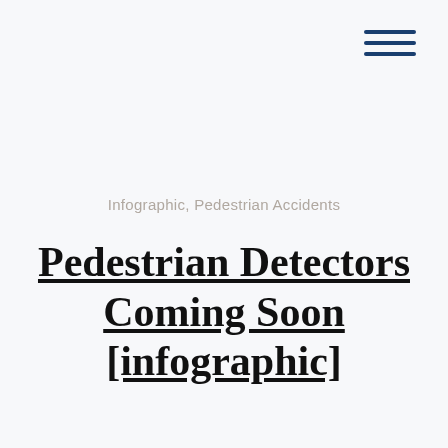[Figure (other): Hamburger menu icon with three horizontal dark blue lines in top-right corner]
Infographic, Pedestrian Accidents
Pedestrian Detectors Coming Soon [infographic]